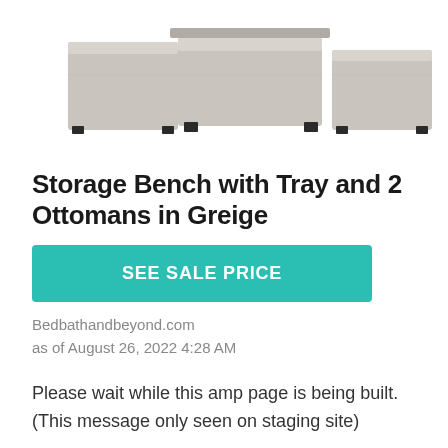[Figure (photo): Product photo of a storage bench with tray and two ottomans in greige/gray upholstered fabric, shown from a front angle on white background]
Storage Bench with Tray and 2 Ottomans in Greige
SEE SALE PRICE
Bedbathandbeyond.com
as of August 26, 2022 4:28 AM
Please wait while this amp page is being built. (This message only seen on staging site)